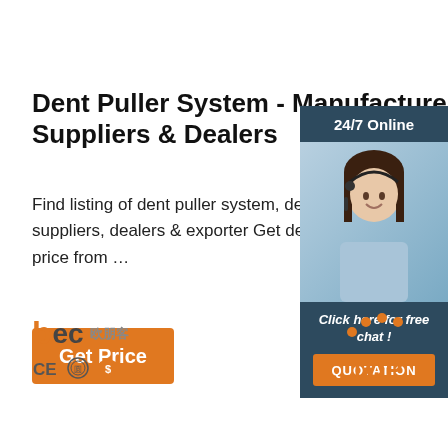Dent Puller System - Manufacturers, Suppliers & Dealers
Find listing of dent puller system, dent puller manufacturers, suppliers, dealers & exporter Get dent puller system at best price from …
[Figure (other): Orange 'Get Price' button]
[Figure (other): Customer service chat widget with '24/7 Online' header, photo of woman with headset, 'Click here for free chat!' text, and orange QUOTATION button]
[Figure (logo): BEC logo with Chinese characters and CE/certification icons]
[Figure (logo): Orange TOP logo with dots above text]